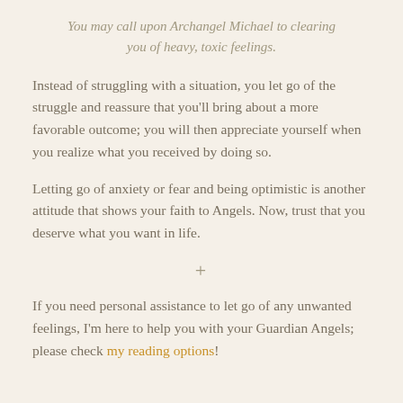You may call upon Archangel Michael to clearing you of heavy, toxic feelings.
Instead of struggling with a situation, you let go of the struggle and reassure that you'll bring about a more favorable outcome; you will then appreciate yourself when you realize what you received by doing so.
Letting go of anxiety or fear and being optimistic is another attitude that shows your faith to Angels. Now, trust that you deserve what you want in life.
+
If you need personal assistance to let go of any unwanted feelings, I'm here to help you with your Guardian Angels; please check my reading options!